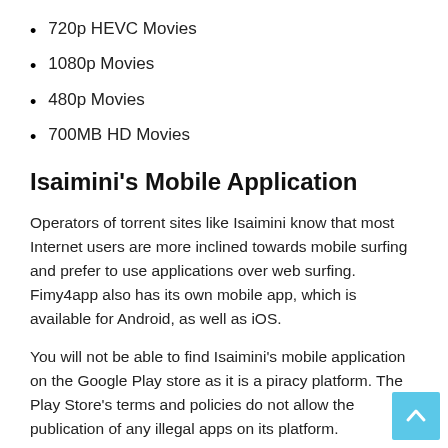720p HEVC Movies
1080p Movies
480p Movies
700MB HD Movies
Isaimini's Mobile Application
Operators of torrent sites like Isaimini know that most Internet users are more inclined towards mobile surfing and prefer to use applications over web surfing. Fimy4app also has its own mobile app, which is available for Android, as well as iOS.
You will not be able to find Isaimini's mobile application on the Google Play store as it is a piracy platform. The Play Store's terms and policies do not allow the publication of any illegal apps on its platform.